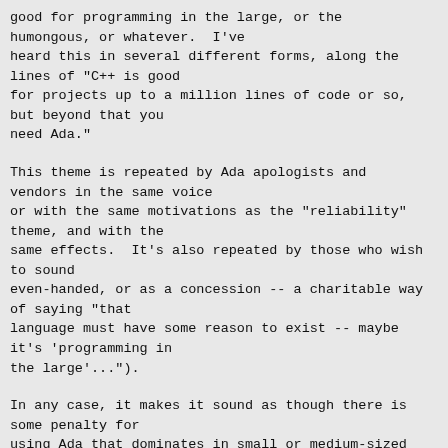good for programming in the large, or the humongous, or whatever.  I've heard this in several different forms, along the lines of "C++ is good for projects up to a million lines of code or so, but beyond that you need Ada."
This theme is repeated by Ada apologists and vendors in the same voice or with the same motivations as the "reliability" theme, and with the same effects.  It's also repeated by those who wish to sound even-handed, or as a concession -- a charitable way of saying "that language must have some reason to exist -- maybe it's 'programming in the large'...").
In any case, it makes it sound as though there is some penalty for using Ada that dominates in small or medium-sized projects, and that the benefits do not emerge until you reach the level of "way huge program".